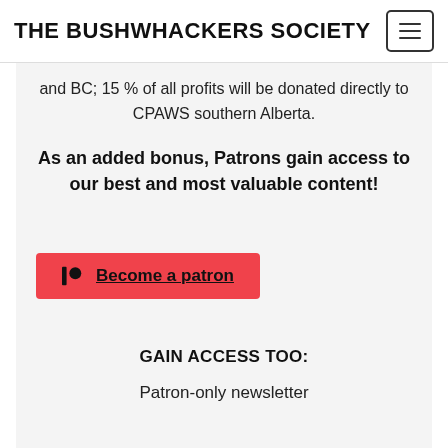THE BUSHWHACKERS SOCIETY
and BC; 15 % of all profits will be donated directly to CPAWS southern Alberta.
As an added bonus, Patrons gain access to our best and most valuable content!
[Figure (other): Red button with Patreon icon and text 'Become a patron']
GAIN ACCESS TOO:
Patron-only newsletter